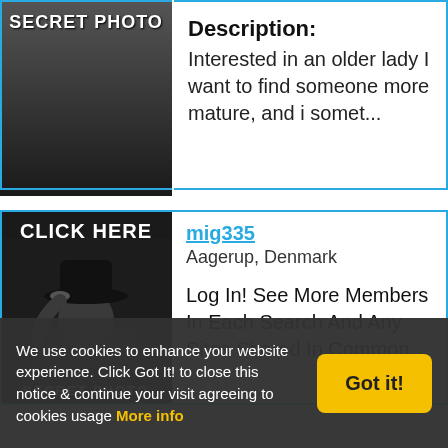[Figure (screenshot): Secret Photo placeholder image — dark gradient with text 'SECRET PHOTO']
Description:
Interested in an older lady I want to find someone more mature, and i somet...
[Figure (screenshot): Secret Photo with silhouette figure in hat and text 'CLICK HERE' and 'SECRET PHOTO']
mig335
Aagerup, Denmark
Log In! See More Members In Each Search And Any Sites Shared In Common
We use cookies to enhance your website experience. Click Got It! to close this notice & continue your visit agreeing to cookies usage  More info
Got it!